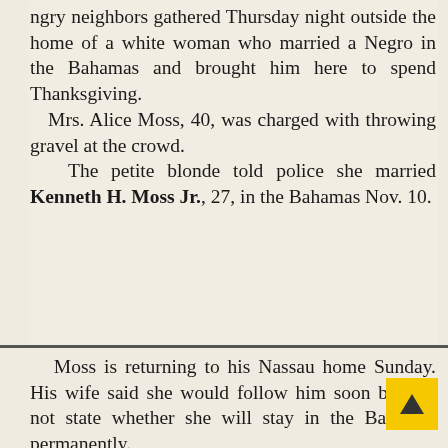Angry neighbors gathered Thursday night outside the home of a white woman who married a Negro in the Bahamas and brought him here to spend Thanksgiving. Mrs. Alice Moss, 40, was charged with throwing gravel at the crowd. The petite blonde told police she married Kenneth H. Moss Jr., 27, in the Bahamas Nov. 10.
Moss is returning to his Nassau home Sunday. His wife said she would follow him soon but did not state whether she will stay in the Bahamas permanently.